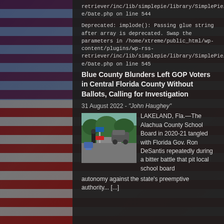retriever/inc/lib/simplepie/library/SimplePie/Parse/Date.php on line 544
Deprecated: implode(): Passing glue string after array is deprecated. Swap the parameters in /home/xtreme/public_html/wp-content/plugins/wp-rss-retriever/inc/lib/simplepie/library/SimplePie/Parse/Date.php on line 545
Blue County Blunders Left GOP Voters in Central Florida County Without Ballots, Calling for Investigation
31 August 2022 - "John Haughey"
[Figure (photo): Outdoor scene showing a person near signs, likely a political protest or polling location]
LAKELAND, Fla.—The Alachua County School Board in 2020-21 tangled with Florida Gov. Ron DeSantis repeatedly during a bitter battle that pit local school board autonomy against the state’s preemptive authority... [...]